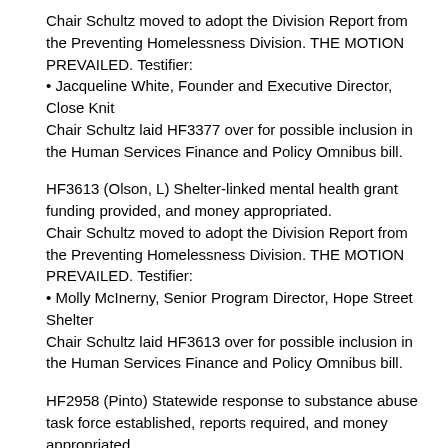Chair Schultz moved to adopt the Division Report from the Preventing Homelessness Division. THE MOTION PREVAILED. Testifier:
• Jacqueline White, Founder and Executive Director, Close Knit
Chair Schultz laid HF3377 over for possible inclusion in the Human Services Finance and Policy Omnibus bill.
HF3613 (Olson, L) Shelter-linked mental health grant funding provided, and money appropriated.
Chair Schultz moved to adopt the Division Report from the Preventing Homelessness Division. THE MOTION PREVAILED. Testifier:
• Molly McInerny, Senior Program Director, Hope Street Shelter
Chair Schultz laid HF3613 over for possible inclusion in the Human Services Finance and Policy Omnibus bill.
HF2958 (Pinto) Statewide response to substance abuse task force established, reports required, and money appropriated.
Chair Schultz moved to adopt the Division Report from the Behavioral Health Policy Division for HF2958. THE MOTION